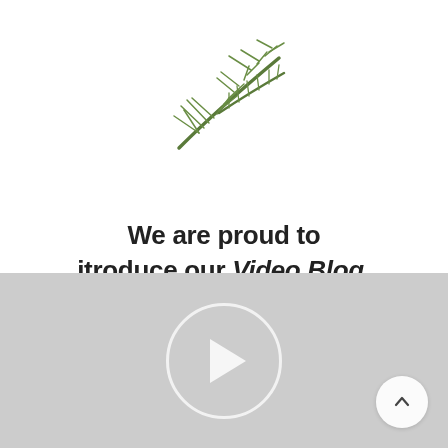[Figure (illustration): A small pine or fir branch with green needles, centered near the top of the page]
We are proud to itroduce our Video Blog.
[Figure (screenshot): A light gray video player area with a circular play button in the center and a scroll-to-top arrow button in the bottom right corner]